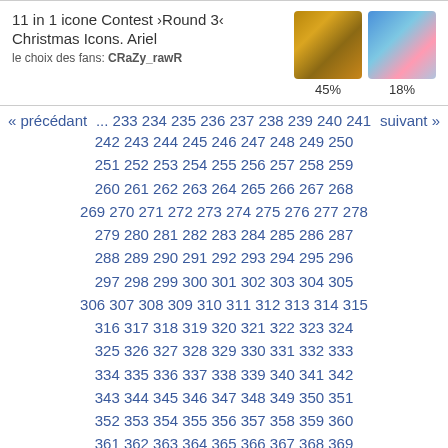11 in 1 icone Contest ›Round 3‹ Christmas Icons. Ariel
le choix des fans: CRaZy_rawR
[Figure (photo): Two thumbnail images side by side showing Christmas-themed icons: left image shows a warm golden Christmas scene (45%), right image shows a blue/pink anime-style character (18%)]
« précédant  ... 233 234 235 236 237 238 239 240 241  suivant »
242 243 244 245 246 247 248 249 250
251 252 253 254 255 256 257 258 259
260 261 262 263 264 265 266 267 268
269 270 271 272 273 274 275 276 277 278
279 280 281 282 283 284 285 286 287
288 289 290 291 292 293 294 295 296
297 298 299 300 301 302 303 304 305
306 307 308 309 310 311 312 313 314 315
316 317 318 319 320 321 322 323 324
325 326 327 328 329 330 331 332 333
334 335 336 337 338 339 340 341 342
343 344 345 346 347 348 349 350 351
352 353 354 355 356 357 358 359 360
361 362 363 364 365 366 367 368 369
370 371 372 373 374 375 376 377 378 379